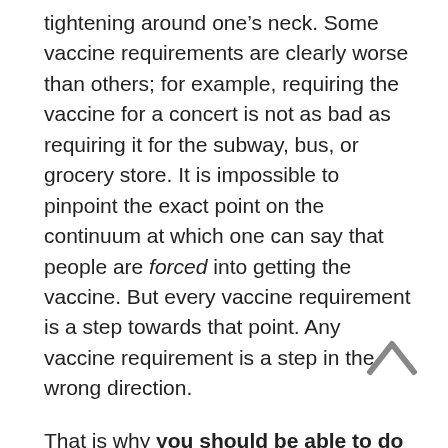tightening around one's neck. Some vaccine requirements are clearly worse than others; for example, requiring the vaccine for a concert is not as bad as requiring it for the subway, bus, or grocery store. It is impossible to pinpoint the exact point on the continuum at which one can say that people are forced into getting the vaccine. But every vaccine requirement is a step towards that point. Any vaccine requirement is a step in the wrong direction.
That is why you should be able to do anything you want without having to get a vaccine in order to do so. People have a fundamental right to decide whether or not